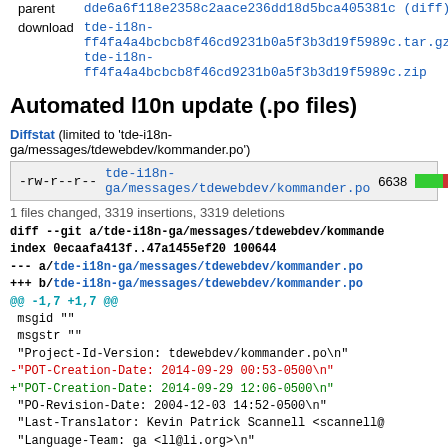| parent | dde6a6f118e2358c2aace236dd18d5bca405381c (diff) |
| download | tde-i18n-ff4fa4a4bcbcb8f46cd9231b0a5f3b3d19f5989c.tar.gz
tde-i18n-ff4fa4a4bcbcb8f46cd9231b0a5f3b3d19f5989c.zip |
Automated l10n update (.po files)
Diffstat (limited to 'tde-i18n-ga/messages/tdewebdev/kommander.po')
| -rw-r--r-- | tde-i18n-ga/messages/tdewebdev/kommander.po | 6638 | [bar chart] |
1 files changed, 3319 insertions, 3319 deletions
diff --git a/tde-i18n-ga/messages/tdewebdev/kommande
index 0ecaafa413f..47a1455ef20 100644
--- a/tde-i18n-ga/messages/tdewebdev/kommander.po
+++ b/tde-i18n-ga/messages/tdewebdev/kommander.po
@@ -1,7 +1,7 @@
 msgid ""
 msgstr ""
 "Project-Id-Version: tdewebdev/kommander.po\n"
-"POT-Creation-Date: 2014-09-29 00:53-0500\n"
+"POT-Creation-Date: 2014-09-29 12:06-0500\n"
 "PO-Revision-Date: 2004-12-03 14:52-0500\n"
 "Last-Translator: Kevin Patrick Scannell <scannell@
 "Language-Team: ga <ll@li.org>\n"